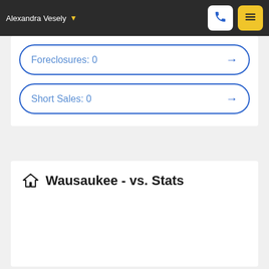Alexandra Vesely
Foreclosures: 0
Short Sales: 0
Wausaukee - vs. Stats